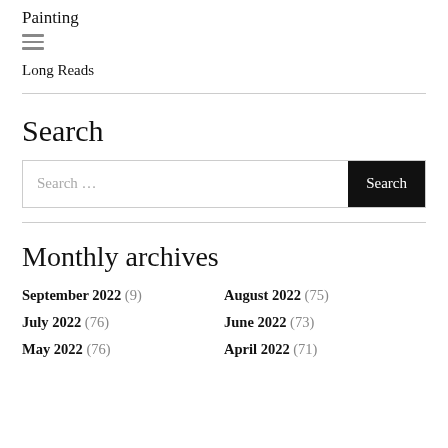Painting
[Figure (other): Hamburger menu icon (three horizontal lines)]
Long Reads
Search
[Figure (other): Search input box with placeholder text 'Search ...' and a black 'Search' button]
Monthly archives
September 2022 (9)
August 2022 (75)
July 2022 (76)
June 2022 (73)
May 2022 (76)
April 2022 (71)